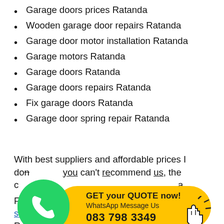Garage doors prices Ratanda
Wooden garage door repairs Ratanda
Garage door motor installation Ratanda
Garage motors Ratanda
Garage doors Ratanda
Garage doors repairs Ratanda
Fix garage doors Ratanda
Garage door spring repair Ratanda
With best suppliers and affordable prices I don't you can't recommend us, the c…
[Figure (infographic): WhatsApp chat widget with green WhatsApp logo circle on left, yellow pill-shaped button reading 'GET your QUOTE now! WhatsApp Message Us 083 798 3349' with a click/hand cursor icon on the right]
For garage door repairs services Ratanda visit the nearest areas around Ratanda mentioned below: